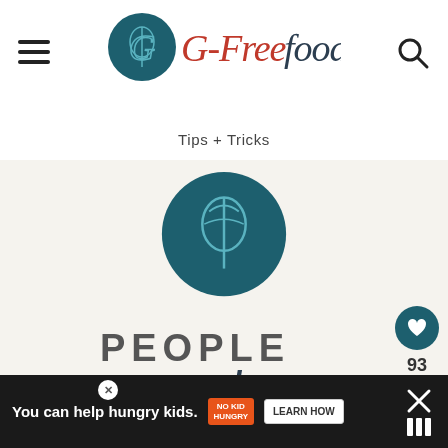G-Free Foodie
Tips + Tricks
[Figure (logo): G-Free Foodie logo — dark teal circular emblem with stylized fork/G monogram above script text reading 'G-Free foodie' in red and dark teal]
PEOPLE
You can help hungry kids. NO KID HUNGRY LEARN HOW
93